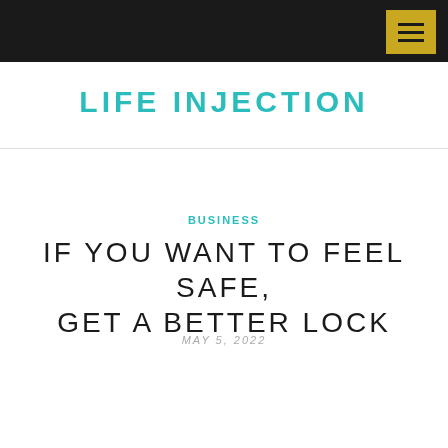LIFE INJECTION — navigation bar with menu button
LIFE INJECTION
BUSINESS
IF YOU WANT TO FEEL SAFE, GET A BETTER LOCK
MAY 5, 2022
[Figure (photo): Close-up photo of a metal door lock/deadbolt mechanism, silver metallic surface, with a teal decorative square in the lower left]